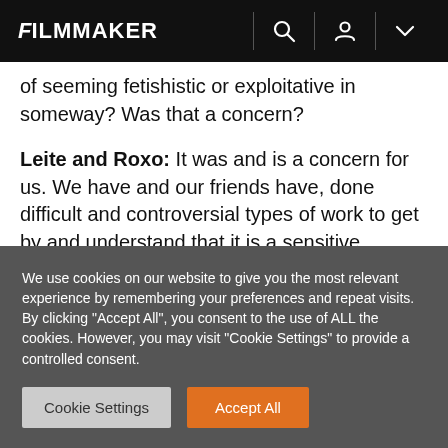FILMMAKER
of seeming fetishistic or exploitative in someway? Was that a concern?
Leite and Roxo: It was and is a concern for us.  We have and our friends have, done difficult and controversial types of work to get by and understand that it is a sensitive subject. We didn’t want to lie to people ever or do anything harmful to people.  We weren’t interested in
We use cookies on our website to give you the most relevant experience by remembering your preferences and repeat visits. By clicking “Accept All”, you consent to the use of ALL the cookies. However, you may visit "Cookie Settings" to provide a controlled consent.